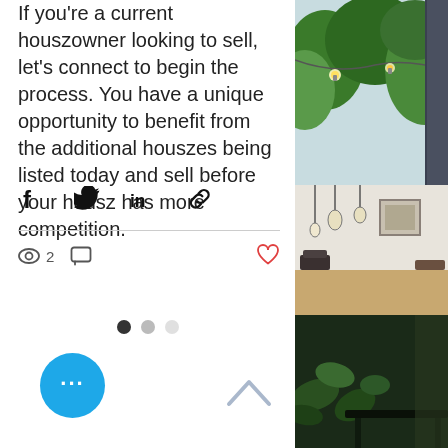If you're a current houszowner looking to sell, let's connect to begin the process. You have a unique opportunity to benefit from the additional houszes being listed today and sell before your housz has more competition.
[Figure (screenshot): Social share icons: Facebook, Twitter, LinkedIn, and link/chain icon]
[Figure (screenshot): Post stats row: eye/views icon with count 2, comment bubble icon, and a red heart/like icon on the right]
[Figure (screenshot): Carousel pagination dots: one dark filled dot and two lighter dots indicating slide 1 of 3]
[Figure (screenshot): Blue circular FAB button with three white dots (ellipsis), and a chevron/caret up arrow in outline style]
[Figure (photo): Right panel: top photo of outdoor space with string lights and lush green foliage/trees; middle photo of interior room with hanging pendant lights and a framed picture on wall; bottom photo of dark interior with plants and furniture]